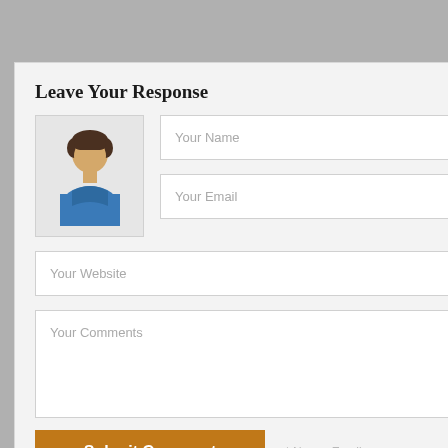Leave Your Response
[Figure (illustration): Generic user avatar icon — a person with dark hair wearing a blue shirt, displayed in a light gray box]
Your Name
Your Email
Your Website
Your Comments
Submit Comment
* Name, Email